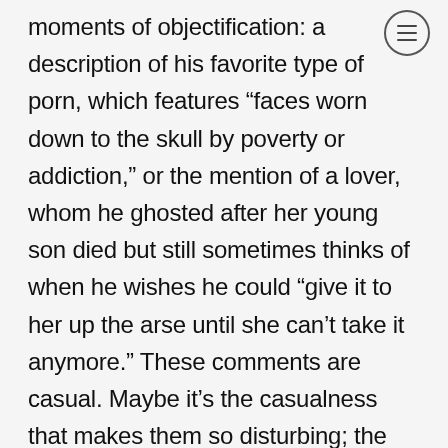moments of objectification: a description of his favorite type of porn, which features “faces worn down to the skull by poverty or addiction,” or the mention of a lover, whom he ghosted after her young son died but still sometimes thinks of when he wishes he could “give it to her up the arse until she can’t take it anymore.” These comments are casual. Maybe it’s the casualness that makes them so disturbing; the author, who is introspective about nearly everything else, didn’t consider them worthy of a second thought. But, just as Dani is obsessed with